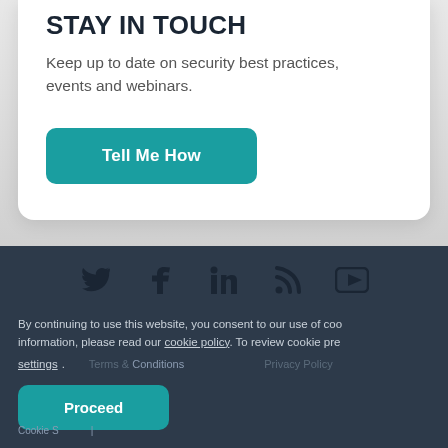STAY IN TOUCH
Keep up to date on security best practices, events and webinars.
Tell Me How
[Figure (infographic): Social media icons: Twitter, Facebook, LinkedIn, RSS, YouTube]
By continuing to use this website, you consent to our use of cookies. For more information, please read our cookie policy. To review cookie preferences, click settings.
Terms & Conditions   Privacy Policy
Proceed
Cookie Settings |